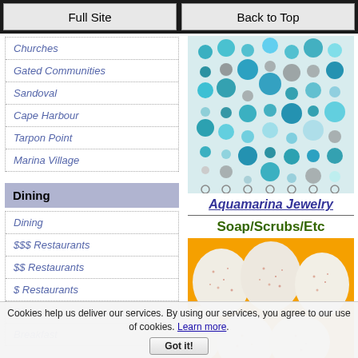Full Site | Back to Top
Churches
Gated Communities
Sandoval
Cape Harbour
Tarpon Point
Marina Village
[Figure (photo): Photo of turquoise and silver beaded jewelry pieces arranged in rows on a white background]
Aquamarina Jewelry
Dining
Dining
$$$ Restaurants
$$ Restaurants
$ Restaurants
Pizza
Breakfast
Soap/Scrubs/Etc
[Figure (photo): Photo of round white and cream colored soap bars with pink speckles arranged on an orange background]
Cookies help us deliver our services. By using our services, you agree to our use of cookies. Learn more.
Got it!